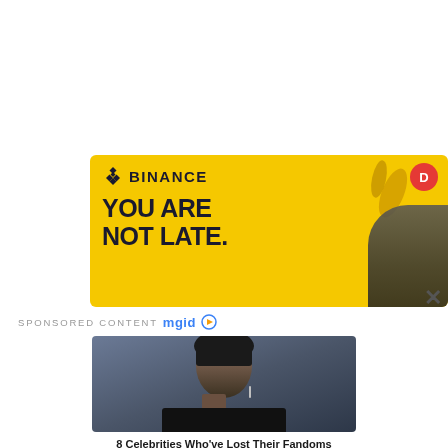[Figure (screenshot): Binance advertisement banner with yellow background. Shows Binance logo (diamond shape icon) with text 'BINANCE', large bold text 'YOU ARE NOT LATE.' in dark color, a red circular badge with letter D in top right, yellow capsule shapes, and a person's head partially visible on right side.]
SPONSORED CONTENT mgid ▷
[Figure (photo): Close-up photo of a male celebrity with dark hair and dangling earrings, looking directly at camera with a serious expression. Dark background.]
8 Celebrities Who've Lost Their Fandoms